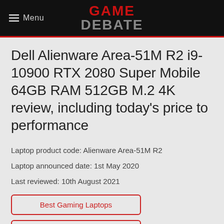Menu | GAME DEBATE
Dell Alienware Area-51M R2 i9-10900 RTX 2080 Super Mobile 64GB RAM 512GB M.2 4K review, including today's price to performance
Laptop product code: Alienware Area-51M R2
Laptop announced date: 1st May 2020
Last reviewed: 10th August 2021
Best Gaming Laptops
Dell Alienware Area-51M R2